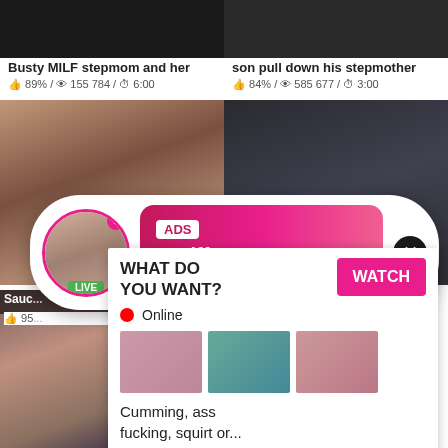[Figure (screenshot): Video thumbnail top left - dark image]
[Figure (screenshot): Video thumbnail top right - dark image]
Busty MILF stepmom and her
son pull down his stepmother
89% / 155 784 / 6:00
84% / 585 677 / 3:00
[Figure (screenshot): Mid left video thumbnail - close up faces]
[Figure (screenshot): Mid right video thumbnail - dark scene]
[Figure (infographic): Ad overlay: profile photo with LIVE badge, ADS label, Jeniffer 2000 (00:12), close button]
Sauc...
95...
[Figure (infographic): Second ad popup: WHAT DO YOU WANT? WATCH button, Online indicator, three mini thumbnails, Cumming, ass fucking, squirt or... ADS text with X close]